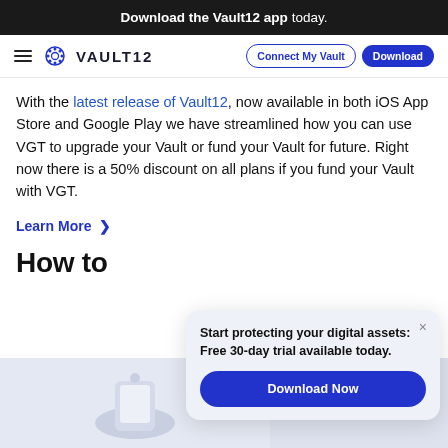Download the Vault12 app today.
[Figure (logo): Vault12 navigation bar with hamburger menu, Vault12 logo, Connect My Vault and Download buttons]
With the latest release of Vault12, now available in both iOS App Store and Google Play we have streamlined how you can use VGT to upgrade your Vault or fund your Vault for future. Right now there is a 50% discount on all plans if you fund your Vault with VGT.
Learn More >
How to
[Figure (screenshot): Popup modal with text: Start protecting your digital assets: Free 30-day trial available today. Download Now button. Close (x) button in top right corner.]